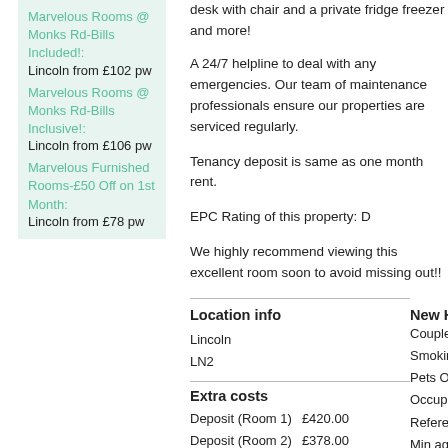Marvelous Rooms @ Monks Rd-Bills Included!: Lincoln from £102 pw
Marvelous Rooms @ Monks Rd-Bills Inclusive!: Lincoln from £106 pw
Marvelous Furnished Rooms-£50 Off on 1st Month: Lincoln from £78 pw
desk with chair and a private fridge freezer and more!
A 24/7 helpline to deal with any emergencies. Our team of maintenance professionals ensure our properties are serviced regularly.
Tenancy deposit is same as one month rent.
EPC Rating of this property: D
We highly recommend viewing this excellent room soon to avoid missing out!!
Location info
Lincoln
LN2
New H
Couple
Smokin
Pets O
Occupa
Refere
Min ag
Gende
Extra costs
|  |  |
| --- | --- |
| Deposit (Room 1) | £420.00 |
| Deposit (Room 2) | £378.00 |
| Deposit (Room 3) | £370.00 |
| Deposit (Room 4) | £510.00 |